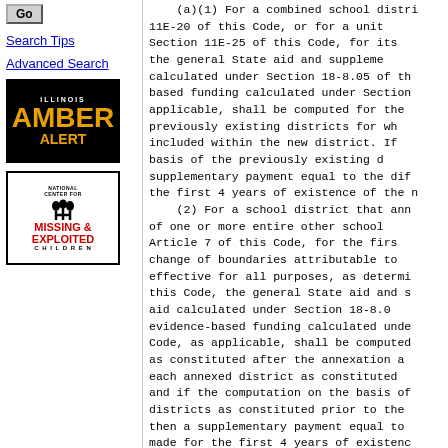Go
Search Tips
Advanced Search
[Figure (other): Illinois Amber Alert logo with orange text on black background]
[Figure (other): National Center for Missing & Exploited Children logo]
(a)(1) For a combined school district formed under Section 11E-20 of this Code, or for a unit school district formed under Section 11E-25 of this Code, for its first year of existence, the general State aid and supplementary general State aid calculated under Section 18-8.05 of this Code, or evidence-based funding calculated under Section 18-8.15, as applicable, shall be computed for the district on the basis of the previously existing districts for which territory is included within the new district. If the computation on the basis of the previously existing districts results in a greater amount, a supplementary payment equal to the difference shall be made for the first 4 years of existence of the new district.
    (2) For a school district that annexes all of the territory of one or more entire other school districts pursuant to Article 7 of this Code, for the first year after the change of boundaries attributable to the annexation becomes effective for all purposes, as determined by Section 7-9 of this Code, the general State aid and supplementary general State aid calculated under Section 18-8.05 of this Code, or evidence-based funding calculated under Section 18-8.15 of this Code, as applicable, shall be computed for the district as constituted after the annexation and for each annexed district as constituted prior to the annexation, and if the computation on the basis of the annexed districts as constituted prior to the annexation is greater, then a supplementary payment equal to the difference shall be made for the first 4 years of existence of the annexing district as constituted upon the annexation.
    (3) For 2 or more school districts that exchange territory of one or more entire oth